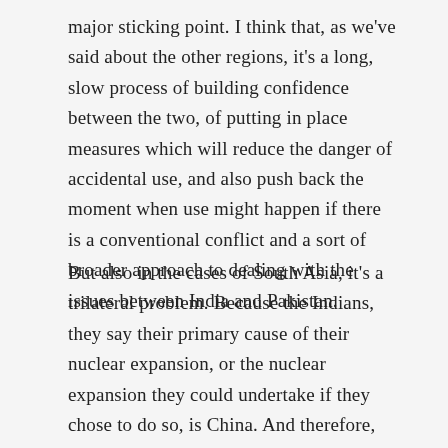major sticking point. I think that, as we've said about the other regions, it's a long, slow process of building confidence between the two, of putting in place measures which will reduce the danger of accidental use, and also push back the moment when use might happen if there is a conventional conflict and a sort of broader approach to dealing with the issues between India and Pakistan.
But also in the cases of South Asia, it's a trilateral problem. Because the Indians, they say their primary cause of their nuclear expansion, or the nuclear expansion they could undertake if they chose to do so, is China. And therefore, there's a need to bring them in, as well. It's really a trilateral problem.